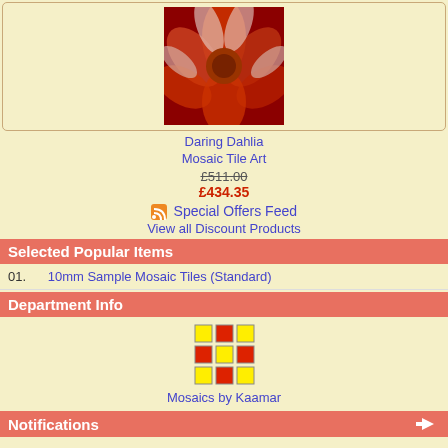[Figure (photo): Mosaic tile art photo of a dahlia flower in red and orange tones]
Daring Dahlia Mosaic Tile Art
£511.00 (strikethrough) £434.35
Special Offers Feed
View all Discount Products
Selected Popular Items
01.   10mm Sample Mosaic Tiles (Standard)
Department Info
[Figure (logo): Mosaics by Kaamar logo - grid of yellow and red colored squares]
Mosaics by Kaamar
Notifications
[Figure (illustration): Small illustration of a person with a phone/notification device]
Notify me of updates to 10mm Sample Mosaic Tiles (Standard)
Reviews
[Figure (illustration): Illustration of a hand holding a pen writing]